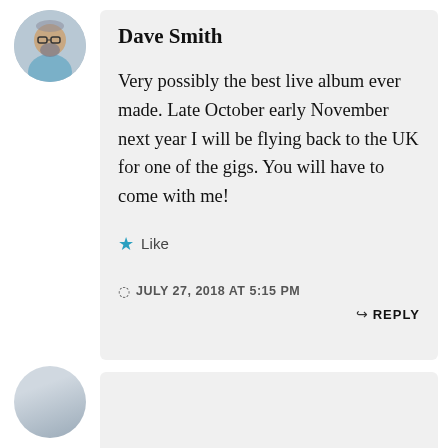[Figure (photo): Circular avatar photo of a man with glasses and a beard]
Dave Smith
Very possibly the best live album ever made. Late October early November next year I will be flying back to the UK for one of the gigs. You will have to come with me!
★ Like
JULY 27, 2018 AT 5:15 PM
↳ REPLY